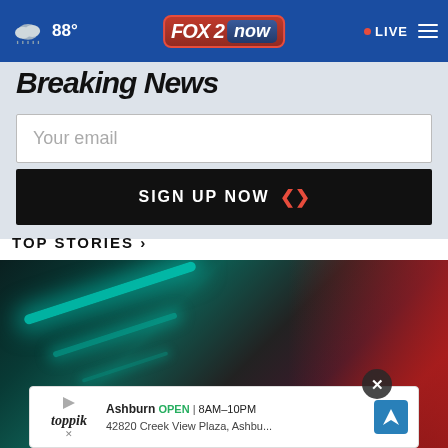FOX 2 now | 88° | LIVE
Breaking News
Your email
SIGN UP NOW
TOP STORIES ›
[Figure (photo): Dark abstract image with teal and red lighting, likely a close-up of a surface with colored light streaks]
Ashburn OPEN | 8AM–10PM 42820 Creek View Plaza, Ashbu...